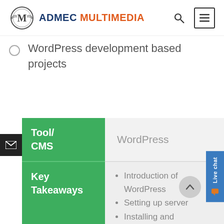ADMEC MULTIMEDIA
WordPress development based projects
|  |  |
| --- | --- |
| Tool/ CMS | WordPress |
| Key Takeaways | • Introduction of WordPress
• Setting up server
• Installing and |